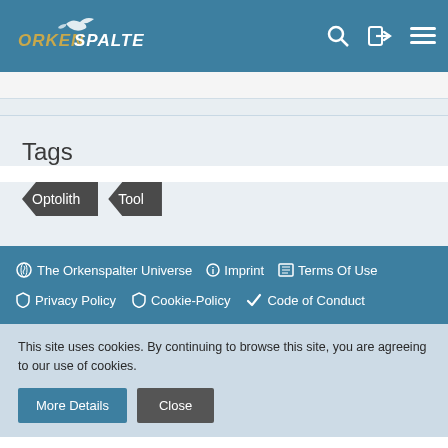Orkenspalter
Tags
Optolith
Tool
The Orkenspalter Universe  Imprint  Terms Of Use  Privacy Policy  Cookie-Policy  Code of Conduct
This site uses cookies. By continuing to browse this site, you are agreeing to our use of cookies.